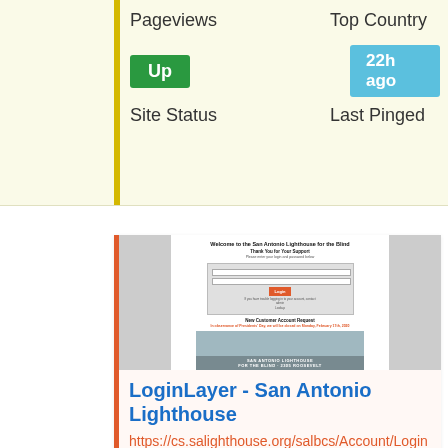Pageviews
Top Country
Up
22h ago
Site Status
Last Pinged
[Figure (screenshot): Screenshot of San Antonio Lighthouse for the Blind login page with a photo of the sign below]
LoginLayer - San Antonio Lighthouse
https://cs.salighthouse.org/salbcs/Account/LoginLayer?returnUrl=%2Fsalbcs